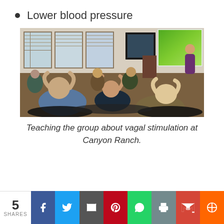Lower blood pressure
[Figure (photo): Workshop attendees seated at round tables all doing a head tilt exercise with hands behind their heads, while a presenter stands at the front near a projection screen showing a colorful presentation. Room has large windows on the left side.]
Teaching the group about vagal stimulation at Canyon Ranch.
5 SHARES | Facebook | Twitter | Email | Pinterest | WhatsApp | Print | Gmail | More